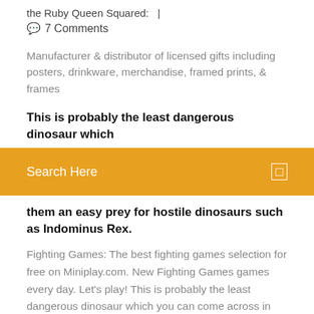the Ruby Queen Squared:  |
💬  7 Comments
Manufacturer & distributor of licensed gifts including posters, drinkware, merchandise, framed prints, & frames
This is probably the least dangerous dinosaur which
[Figure (other): Orange search bar with text 'Search Here' and a search icon on the right]
them an easy prey for hostile dinosaurs such as Indominus Rex.
Fighting Games: The best fighting games selection for free on Miniplay.com. New Fighting Games games every day. Let's play! This is probably the least dangerous dinosaur which you can come across in Minecraft. They are very easy to spot because of their long neck but this also makes them an easy prey for hostile dinosaurs such as Indominus Rex. Minecraft | I HAVE A RARE Disease?! Subscribe and join TeamTDM! :: http://bit.ly/TxtGm8 Previous video :: https://yout.../eMEE63Dkwj...